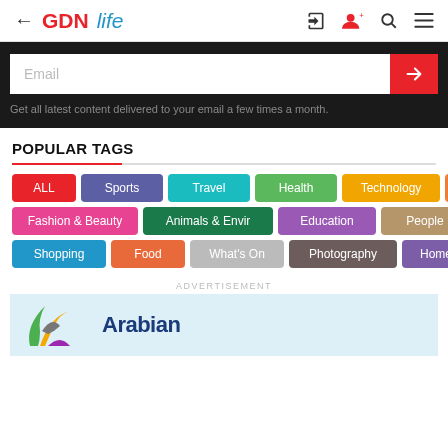GDN life — navigation header with back arrow, login, add user, search, menu icons
Email — input field with submit button
Get all latest content delivered to your email a few times a month.
POPULAR TAGS
ALL
Sports
Travel
Health
Technology
Arts & Entmt
Fashion & Beauty
Animals & Envir
Education
People
Shopping
Food
What's On
Photography
Home & Interiors
ADVERTISEMENT
[Figure (logo): Arabian — partial logo with colorful swoosh shapes and blue text]